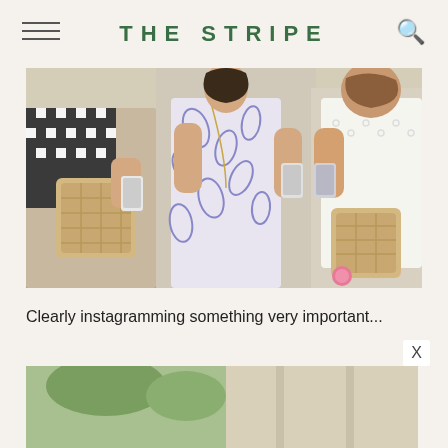THE STRIPE
[Figure (photo): Three women standing outdoors, looking down at their smartphones. The woman on the left wears a black and white checkered top and holds a woven/rattan bag. The center woman wears a blue and white floral/leaf print dress and holds a phone. The right woman wears a white eyelet/lace top and holds a phone, with a woven bag with a pink pom-pom charm.]
Clearly instagramming something very important...
[Figure (photo): Partial view of a second photo showing an outdoor scene, partially visible at bottom of page.]